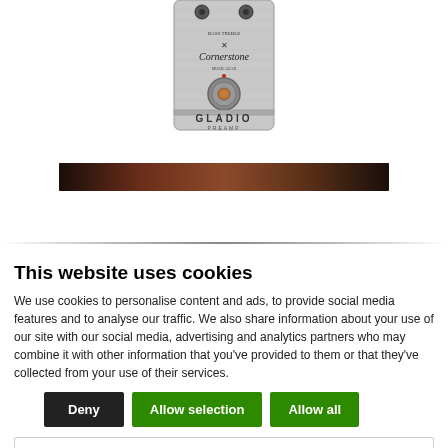[Figure (photo): A guitar effects pedal (Cornerstone Gladio preamp) with silver brushed metal face, knobs at top, a large central footswitch, and 'GLADIO PREAMP' branding at the bottom.]
[Figure (photo): A dark horizontal bar, gradient from near-black to dark reddish-brown, possibly a cropped product or background image.]
This website uses cookies
We use cookies to personalise content and ads, to provide social media features and to analyse our traffic. We also share information about your use of our site with our social media, advertising and analytics partners who may combine it with other information that you've provided to them or that they've collected from your use of their services.
Deny | Allow selection | Allow all
Necessary  Preferences  Statistics  Marketing  Show details